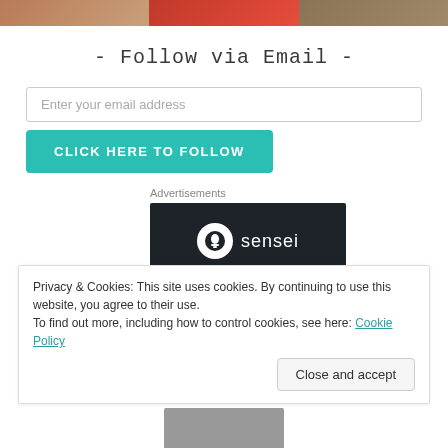[Figure (photo): Three cropped photos at the top of the page showing textures/subjects]
- Follow via Email -
Enter your email address
CLICK HERE TO FOLLOW
Advertisements
[Figure (logo): Sensei advertisement with dark background, white circular logo with tree/figure icon, and 'sensei' text]
Privacy & Cookies: This site uses cookies. By continuing to use this website, you agree to their use.
To find out more, including how to control cookies, see here: Cookie Policy
Close and accept